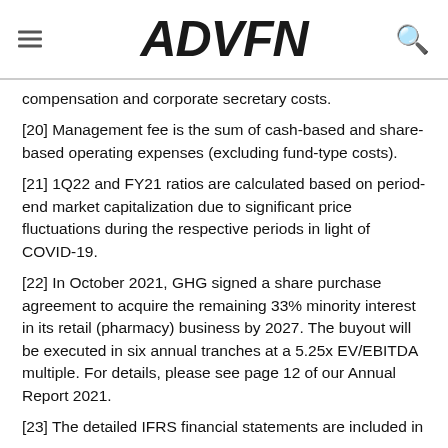ADVFN
compensation and corporate secretary costs.
[20] Management fee is the sum of cash-based and share-based operating expenses (excluding fund-type costs).
[21] 1Q22 and FY21 ratios are calculated based on period-end market capitalization due to significant price fluctuations during the respective periods in light of COVID-19.
[22] In October 2021, GHG signed a share purchase agreement to acquire the remaining 33% minority interest in its retail (pharmacy) business by 2027. The buyout will be executed in six annual tranches at a 5.25x EV/EBITDA multiple. For details, please see page 12 of our Annual Report 2021.
[23] The detailed IFRS financial statements are included in